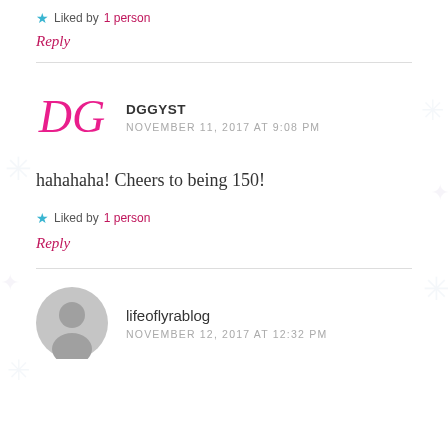★ Liked by 1person
Reply
DGGYST
NOVEMBER 11, 2017 AT 9:08 PM
hahahaha! Cheers to being 150!
★ Liked by 1person
Reply
lifeoflyrablog
NOVEMBER 12, 2017 AT 12:32 PM